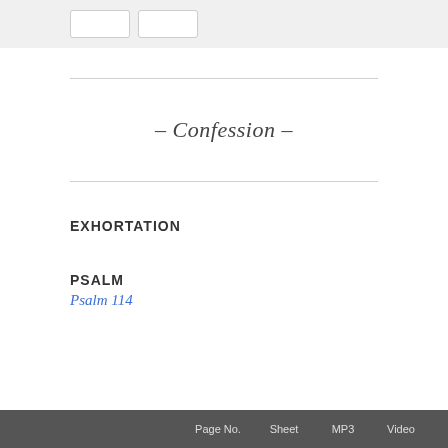[Figure (other): Gray box with two white UI buttons]
– Confession –
EXHORTATION
PSALM
Psalm 114
Page No.    Sheet    MP3    Video